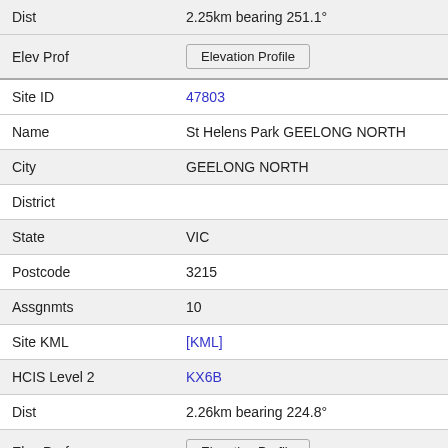| Dist | 2.25km bearing 251.1° |
| Elev Prof | Elevation Profile |
| Site ID | 47803 |
| Name | St Helens Park GEELONG NORTH |
| City | GEELONG NORTH |
| District |  |
| State | VIC |
| Postcode | 3215 |
| Assgnmts | 10 |
| Site KML | [KML] |
| HCIS Level 2 | KX6B |
| Dist | 2.26km bearing 224.8° |
| Elev Prof | Elevation Profile |
| Site ID | 49753 |
| Name | Met Bureau Site Swinburne St GEELONG NORTH |
| City | GEELONG NORTH |